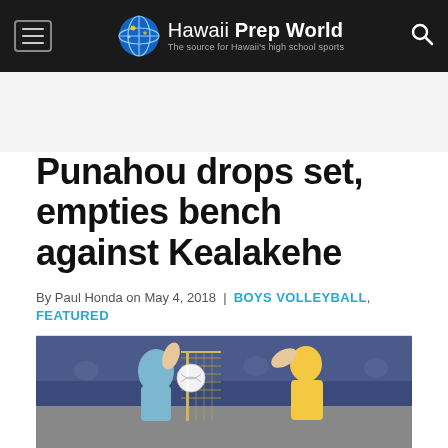Hawaii Prep World — The source for Hawaii's high school sports
Punahou drops set, empties bench against Kealakehe
By Paul Honda on May 4, 2018 | BOYS VOLLEYBALL, FEATURED
[Figure (photo): Two volleyball players at the net during a match, one in light blue jersey and one in yellow jersey, attempting a block/spike at the net with spectators in the background]